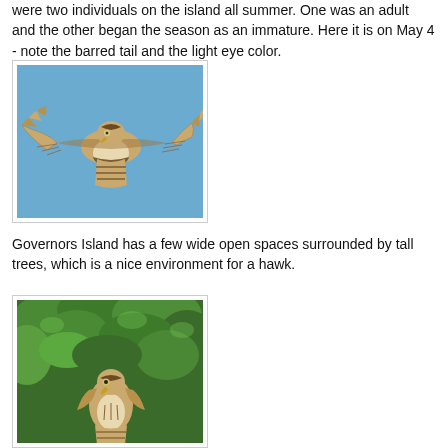were two individuals on the island all summer.  One was an adult and the other began the season as an immature.  Here it is on May 4 - note the barred tail and the light eye color.
[Figure (photo): A hawk photographed from below in flight against a clear blue sky, showing barred tail and wing pattern consistent with an immature red-tailed hawk.]
Governors Island has a few wide open spaces surrounded by tall trees, which is a nice environment for a hawk.
[Figure (photo): A hawk perched in or near dense green foliage, photographed from below or at a low angle.]